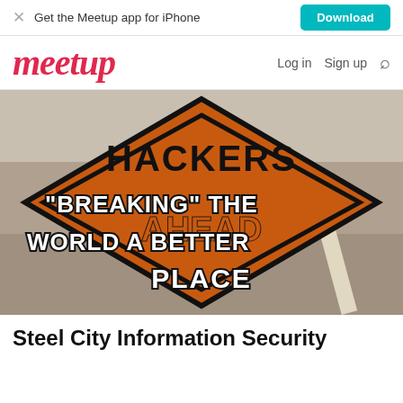Get the Meetup app for iPhone   Download
[Figure (logo): Meetup logo in red italic script with Log in, Sign up, and search icon navigation]
[Figure (photo): Orange diamond-shaped road sign reading 'HACKERS AHEAD' with overlaid white bold text reading: "Breaking" the world a better place]
Steel City Information Security